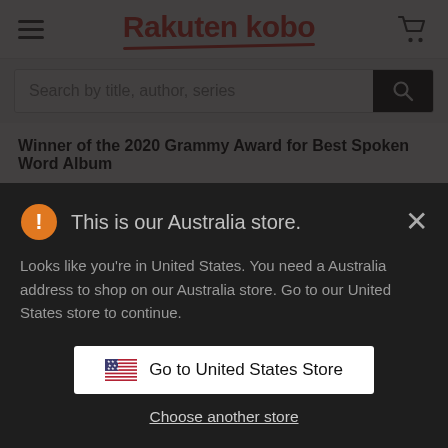Rakuten kobo
Search by title, author, series
Winner of the 2020 Grammy Award for Best Spoken Word Album
Winner of the 2020 Audie Award for Autobiography/Memoir
An intimate, powerful, and inspiring memoir; 17 million copies sold worldwide
THE NO. 1 BESTSELLER
BRITISH BOOK AWARDS, NON-FICTION BOOK OF THE YEAR
This is our Australia store.
Looks like you're in United States. You need a Australia address to shop on our Australia store. Go to our United States store to continue.
Go to United States Store
Choose another store